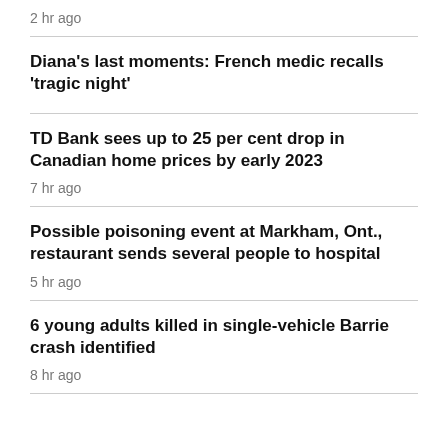2 hr ago
Diana's last moments: French medic recalls 'tragic night'
TD Bank sees up to 25 per cent drop in Canadian home prices by early 2023
7 hr ago
Possible poisoning event at Markham, Ont., restaurant sends several people to hospital
5 hr ago
6 young adults killed in single-vehicle Barrie crash identified
8 hr ago